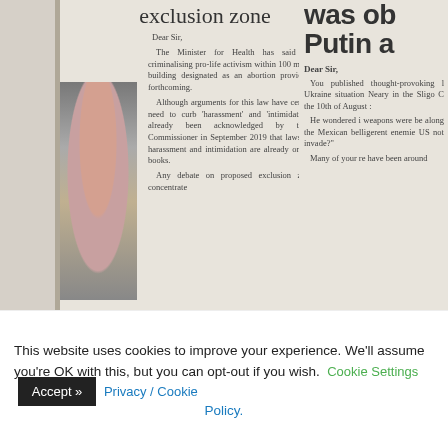[Figure (photo): Scanned newspaper page showing two letters to the editor. Left column has heading 'exclusion zone' with article text starting 'Dear Sir, The Minister for Health has said that laws criminalising pro-life activism...' and a blurred photo of a person. Right column shows heading 'was ob Putin a' with letter text starting 'Dear Sir, You published thought-provoking l Ukraine situation Neary in the Sligo C...']
This website uses cookies to improve your experience. We'll assume you're OK with this, but you can opt-out if you wish. Cookie Settings  Accept >>  Privacy / Cookie Policy.